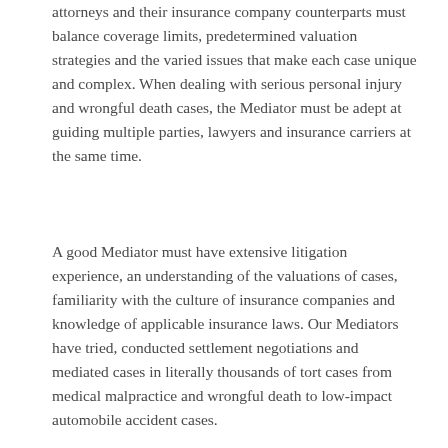attorneys and their insurance company counterparts must balance coverage limits, predetermined valuation strategies and the varied issues that make each case unique and complex. When dealing with serious personal injury and wrongful death cases, the Mediator must be adept at guiding multiple parties, lawyers and insurance carriers at the same time.
A good Mediator must have extensive litigation experience, an understanding of the valuations of cases, familiarity with the culture of insurance companies and knowledge of applicable insurance laws. Our Mediators have tried, conducted settlement negotiations and mediated cases in literally thousands of tort cases from medical malpractice and wrongful death to low-impact automobile accident cases.